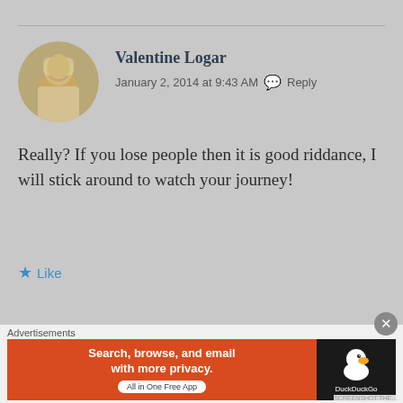[Figure (photo): Circular avatar photo of Valentine Logar, a person in light colored clothing with warm toned background]
Valentine Logar
January 2, 2014 at 9:43 AM   Reply
Really? If you lose people then it is good riddance, I will stick around to watch your journey!
Like
[Figure (illustration): Circular avatar sketch/illustration of ArticlesofAbsurdity, a drawn portrait of a person]
ArticlesofAbsurdity
January 1, 2014 at 9:31 PM   Reply
Advertisements
[Figure (screenshot): DuckDuckGo advertisement banner. Left side orange/red background with text: Search, browse, and email with more privacy. All in One Free App. Right side dark background with DuckDuckGo duck logo and DuckDuckGo text.]